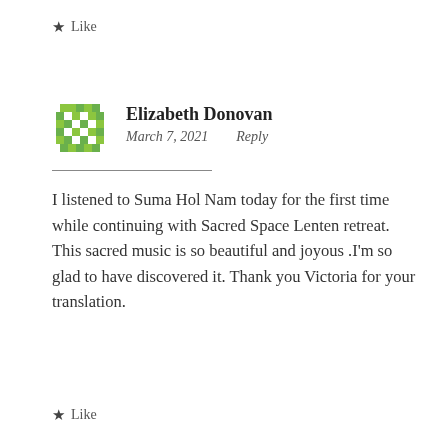★ Like
[Figure (illustration): Green pixel/mosaic style avatar icon for Elizabeth Donovan]
Elizabeth Donovan
March 7, 2021    Reply
I listened to Suma Hol Nam today for the first time while continuing with Sacred Space Lenten retreat. This sacred music is so beautiful and joyous .I'm so glad to have discovered it. Thank you Victoria for your translation.
★ Like